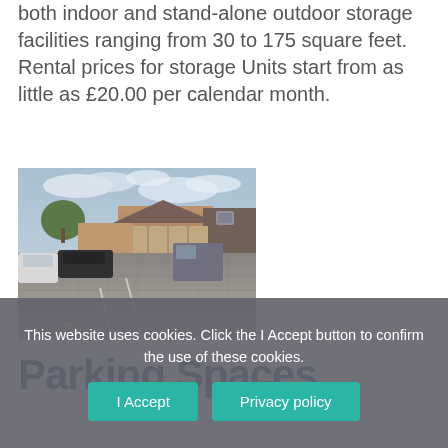both indoor and stand-alone outdoor storage facilities ranging from 30 to 175 square feet.  Rental prices for storage Units start from as little as £20.00 per calendar month.
[Figure (photo): Outdoor car park / storage yard with brick paved surface, several parked cars and vans, brick buildings and walls in background, overcast sky with trees visible]
Parking Spaces
This website uses cookies. Click the I Accept button to confirm the use of these cookies.